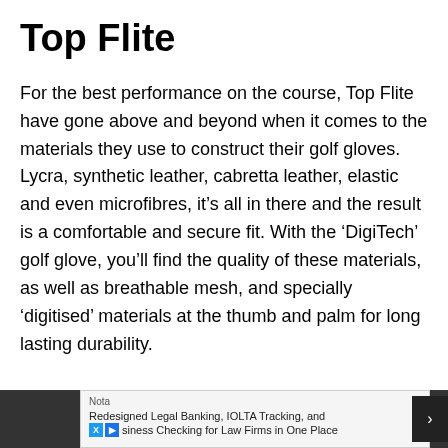Top Flite
For the best performance on the course, Top Flite have gone above and beyond when it comes to the materials they use to construct their golf gloves. Lycra, synthetic leather, cabretta leather, elastic and even microfibres, it’s all in there and the result is a comfortable and secure fit. With the ‘DigiTech’ golf glove, you’ll find the quality of these materials, as well as breathable mesh, and specially ‘digitised’ materials at the thumb and palm for long lasting durability.
Nota
Redesigned Legal Banking, IOLTA Tracking, and Business Checking for Law Firms in One Place